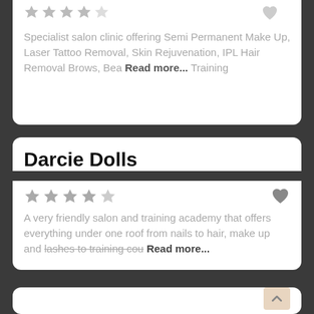Specialist salon clinic offering Semi Permanent Make Up, Laser Tattoo Removal, Skin Rejuvenation, IPL Hair Removal Brows, Bea... Read more...
Darcie Dolls
A very friendly salon and training academy that offers everything under one roof from nails to hair, make up and lashes to training cou... Read more...
[Figure (other): Empty white card section at bottom of page with a back-to-top button in the lower right corner]